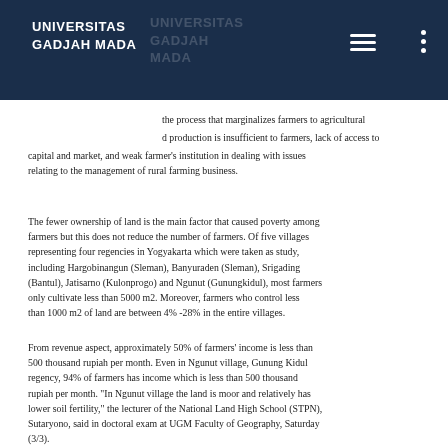UNIVERSITAS GADJAH MADA
the process that marginalizes farmers to agricultural d production is insufficient to farmers, lack of access to capital and market, and weak farmer's institution in dealing with issues relating to the management of rural farming business.
The fewer ownership of land is the main factor that caused poverty among farmers but this does not reduce the number of farmers. Of five villages representing four regencies in Yogyakarta which were taken as study, including Hargobinangun (Sleman), Banyuraden (Sleman), Srigading (Bantul), Jatisarno (Kulonprogo) and Ngunut (Gunungkidul), most farmers only cultivate less than 5000 m2. Moreover, farmers who control less than 1000 m2 of land are between 4% -28% in the entire villages.
From revenue aspect, approximately 50% of farmers' income is less than 500 thousand rupiah per month. Even in Ngunut village, Gunung Kidul regency, 94% of farmers has income which is less than 500 thousand rupiah per month. "In Ngunut village the land is moor and relatively has lower soil fertility," the lecturer of the National Land High School (STPN), Sutaryono, said in doctoral exam at UGM Faculty of Geography, Saturday (3/3).